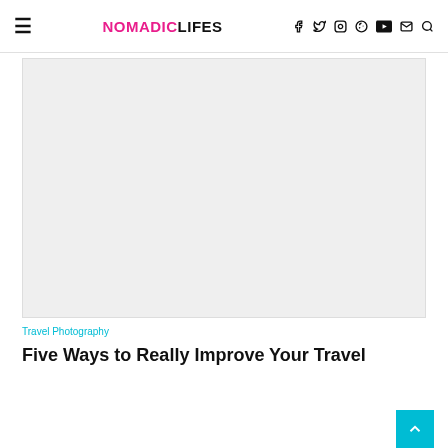NOMADICLIFES
[Figure (photo): Large hero image placeholder — light gray rectangle]
Travel Photography
Five Ways to Really Improve Your Travel